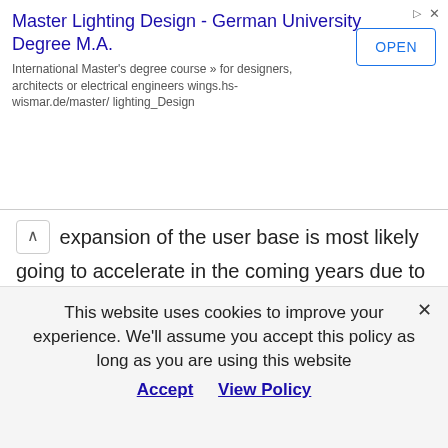[Figure (screenshot): Advertisement banner for Master Lighting Design - German University Degree M.A. with an OPEN button]
expansion of the user base is most likely going to accelerate in the coming years due to a few factors common to new technologies of this type.
Drones are similar to most technologies, as the tech matures it gets cheaper, it gets much more advanced and it gets smaller. Most people couldn't afford a cell phone 20 years ago and now everyone has a supercomputer on
This website uses cookies to improve your experience. We'll assume you accept this policy as long as you are using this website Accept  View Policy